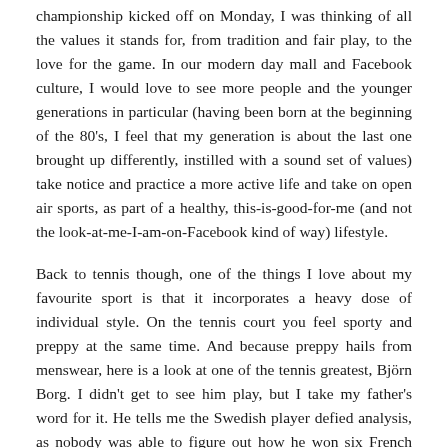championship kicked off on Monday, I was thinking of all the values it stands for, from tradition and fair play, to the love for the game. In our modern day mall and Facebook culture, I would love to see more people and the younger generations in particular (having been born at the beginning of the 80's, I feel that my generation is about the last one brought up differently, instilled with a sound set of values) take notice and practice a more active life and take on open air sports, as part of a healthy, this-is-good-for-me (and not the look-at-me-I-am-on-Facebook kind of way) lifestyle.
Back to tennis though, one of the things I love about my favourite sport is that it incorporates a heavy dose of individual style. On the tennis court you feel sporty and preppy at the same time. And because preppy hails from menswear, here is a look at one of the tennis greatest, Björn Borg. I didn't get to see him play, but I take my father's word for it. He tells me the Swedish player defied analysis, as nobody was able to figure out how he won six French Open and five straight Wimbledon titles. He was